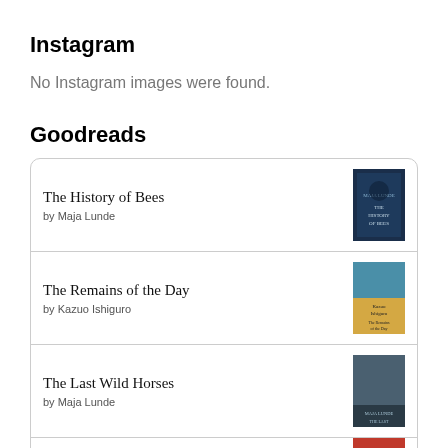Instagram
No Instagram images were found.
Goodreads
The History of Bees by Maja Lunde
The Remains of the Day by Kazuo Ishiguro
The Last Wild Horses by Maja Lunde
Убити амоцинiва (partial)